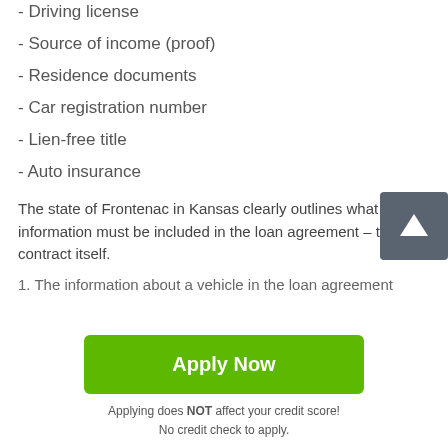- Driving license
- Source of income (proof)
- Residence documents
- Car registration number
- Lien-free title
- Auto insurance
The state of Frontenac in Kansas clearly outlines what information must be included in the loan agreement – the contract itself.
1. The information about a vehicle in the loan agreement
[Figure (other): Scroll-to-top button: dark grey rounded square with white upward arrow icon]
Apply Now
Applying does NOT affect your credit score!
No credit check to apply.